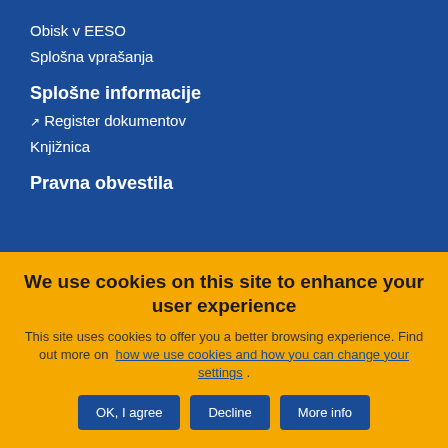Obisk v EESO
Splošna vprašanja
Splošne informacije
Register dokumentov
Knjižnica
Pravna obvestila
We use cookies on this site to enhance your user experience
This site uses cookies to offer you a better browsing experience. Find out more on how we use cookies and how you can change your settings .